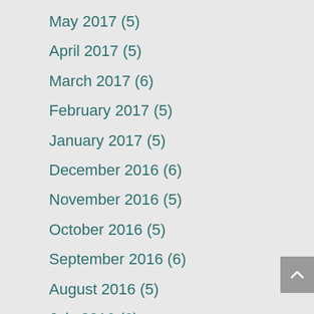May 2017 (5)
April 2017 (5)
March 2017 (6)
February 2017 (5)
January 2017 (5)
December 2016 (6)
November 2016 (5)
October 2016 (5)
September 2016 (6)
August 2016 (5)
July 2016 (6)
June 2016 (4)
May 2016 (7)
April 2016 (6)
March 2016 (7)